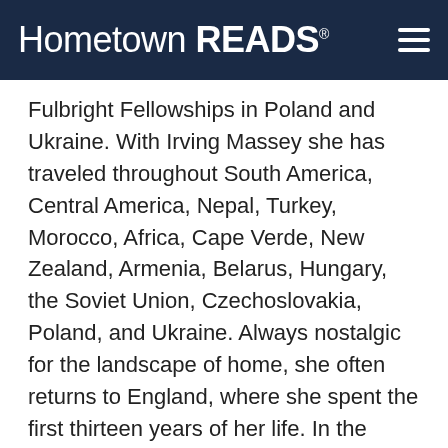Hometown READS®
Fulbright Fellowships in Poland and Ukraine. With Irving Massey she has traveled throughout South America, Central America, Nepal, Turkey, Morocco, Africa, Cape Verde, New Zealand, Armenia, Belarus, Hungary, the Soviet Union, Czechoslovakia, Poland, and Ukraine. Always nostalgic for the landscape of home, she often returns to England, where she spent the first thirteen years of her life. In the summers she lives in the wilderness of Nova Scotia.
Know others who might like this book? Share this page!
[Figure (other): Social media sharing buttons: Facebook (f), Twitter (bird), LinkedIn (in), Google+ (g+)]